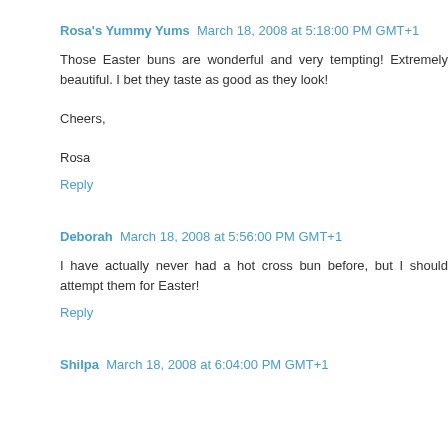Rosa's Yummy Yums March 18, 2008 at 5:18:00 PM GMT+1
Those Easter buns are wonderful and very tempting! Extremely beautiful. I bet they taste as good as they look!

Cheers,

Rosa
Reply
Deborah March 18, 2008 at 5:56:00 PM GMT+1
I have actually never had a hot cross bun before, but I should attempt them for Easter!
Reply
Shilpa March 18, 2008 at 6:04:00 PM GMT+1